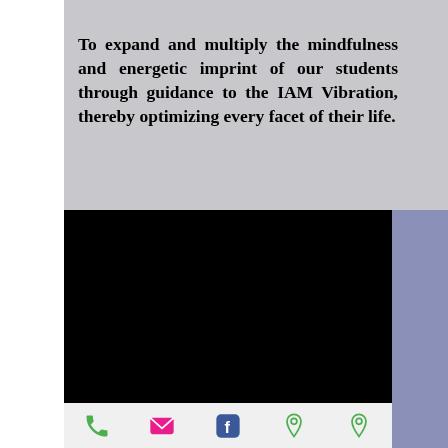To expand and multiply the mindfulness and energetic imprint of our students through guidance to the IAM Vibration, thereby optimizing every facet of their life.
[Figure (other): Black rectangular block, likely a video player or covered image]
[Figure (infographic): Mobile app bottom navigation bar with icons: phone (green), mail (pink), Facebook (blue), location pin (green), location pin (green)]